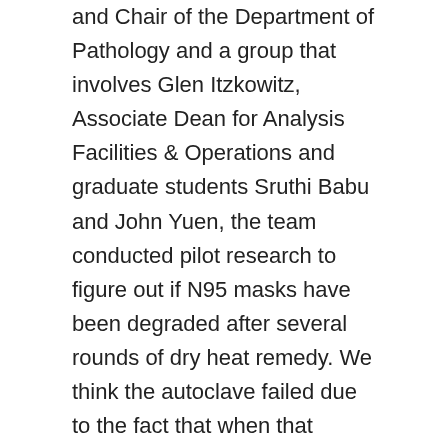and Chair of the Department of Pathology and a group that involves Glen Itzkowitz, Associate Dean for Analysis Facilities & Operations and graduate students Sruthi Babu and John Yuen, the team conducted pilot research to figure out if N95 masks have been degraded after several rounds of dry heat remedy. We think the autoclave failed due to the fact that when that equipment pulled vacuum and then heated up, the 1860 model masks would turn out to be deformed. To locate carpet cleaning equipment it is advisable to shop at a regional cleaning supplies and janitorial equipment distributor or look on the internet at vacuum cleaner and carpet extractor sites. This is a fantastic way to acquire experience and information about this sector and at times studying by creating blunders is the very best way to best your carpet cleaning abilities. With over 50 years experience in the